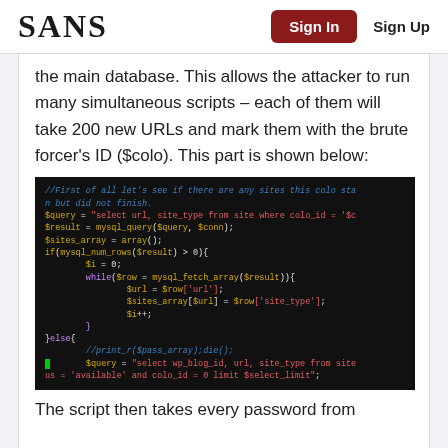SANS | Sign In | Sign Up
the main database. This allows the attacker to run many simultaneous scripts – each of them will take 200 new URLs and mark them with the brute forcer's ID ($colo). This part is shown below:
[Figure (screenshot): Dark-themed code editor screenshot showing PHP code with syntax highlighting. The code queries a MySQL database for sites by colo_id, fetches results into an array, and in the else branch selects available sites with a limit.]
The script then takes every password from